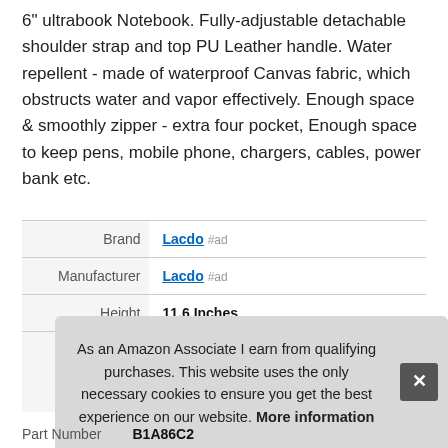6" ultrabook Notebook. Fully-adjustable detachable shoulder strap and top PU Leather handle. Water repellent - made of waterproof Canvas fabric, which obstructs water and vapor effectively. Enough space & smoothly zipper - extra four pocket, Enough space to keep pens, mobile phone, chargers, cables, power bank etc.
|  |  |
| --- | --- |
| Brand | Lacdo #ad |
| Manufacturer | Lacdo #ad |
| Height | 11.6 Inches |
| Part Number | B1A86C2 |
As an Amazon Associate I earn from qualifying purchases. This website uses the only necessary cookies to ensure you get the best experience on our website. More information